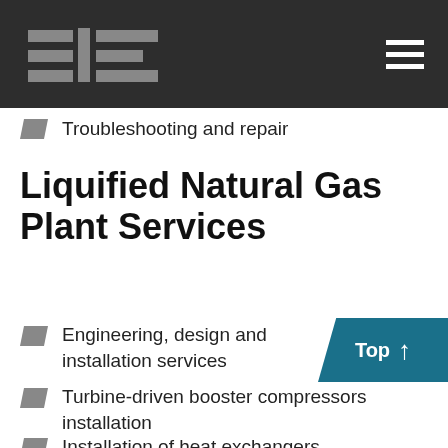3E logo and navigation header
Troubleshooting and repair
Liquified Natural Gas Plant Services
Engineering, design and installation services
Turbine-driven booster compressors installation
Installation of heat exchangers